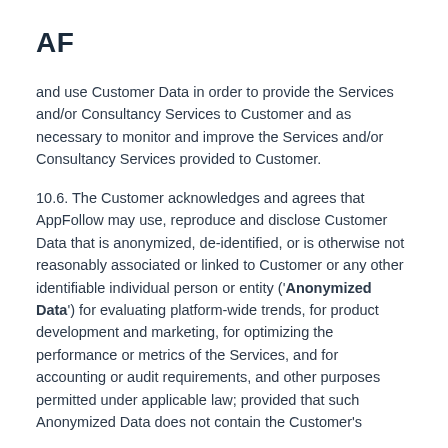AF
and use Customer Data in order to provide the Services and/or Consultancy Services to Customer and as necessary to monitor and improve the Services and/or Consultancy Services provided to Customer.
10.6. The Customer acknowledges and agrees that AppFollow may use, reproduce and disclose Customer Data that is anonymized, de-identified, or is otherwise not reasonably associated or linked to Customer or any other identifiable individual person or entity ('Anonymized Data') for evaluating platform-wide trends, for product development and marketing, for optimizing the performance or metrics of the Services, and for accounting or audit requirements, and other purposes permitted under applicable law; provided that such Anonymized Data does not contain the Customer's